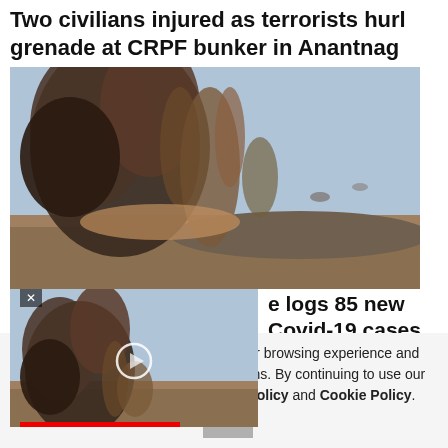Two civilians injured as terrorists hurl grenade at CRPF bunker in Anantnag
[Figure (photo): Explosion with large plume of brown and black smoke rising over a desert landscape]
[Figure (photo): Smaller overlay video thumbnail showing similar explosion scene with play circle button and red progress bar; X close button in top left]
…e logs 85 new Covid-19 cases
…nilar technologies, to enhance your browsing experience and provide personalised recommendations. By continuing to use our website, you agree to our Privacy Policy and Cookie Policy.